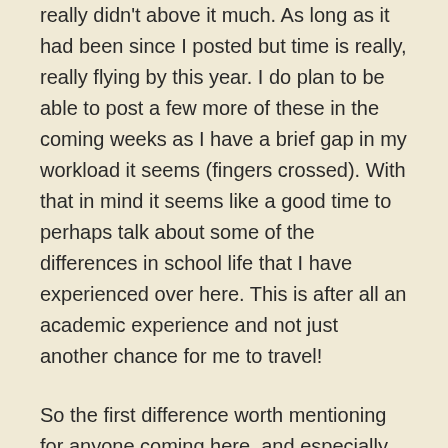really didn't above it much. As long as it had been since I posted but time is really, really flying by this year. I do plan to be able to post a few more of these in the coming weeks as I have a brief gap in my workload it seems (fingers crossed). With that in mind it seems like a good time to perhaps talk about some of the differences in school life that I have experienced over here. This is after all an academic experience and not just another chance for me to travel!
So the first difference worth mentioning for anyone coming here, and especially for those from England, is the workload. It is considerably higher than you will find you experience most of the time in England. In many ways it is closer to what we all experienced during A-Level rather than university, though of course more challenging. This semester three out of my four classes each require a weekly piece of work to be submitted, usually based